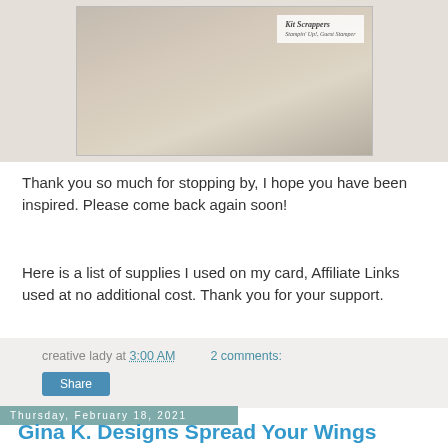[Figure (photo): Photo of a crafted card on a wooden surface with a logo overlay reading 'Kit Scrappers']
Thank you so much for stopping by, I hope you have been inspired. Please come back again soon!
Here is a list of supplies I used on my card, Affiliate Links used at no additional cost. Thank you for your support.
creative lady at 3:00 AM   2 comments:
Share
Thursday, February 18, 2021
Gina K. Designs Spread Your Wings
Hello everyone!
I am here sharing a a card, from the January 2021 release.